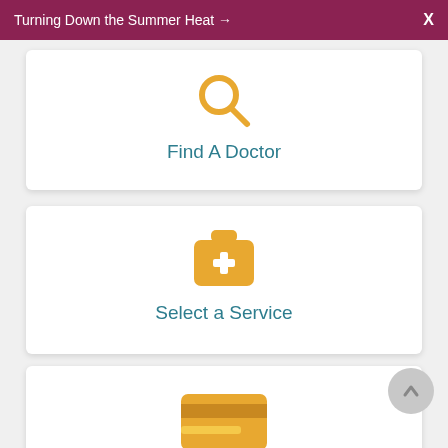Turning Down the Summer Heat → X
[Figure (illustration): Gold magnifying glass icon above 'Find A Doctor' teal text link inside a white card]
[Figure (illustration): Gold first-aid/medical kit icon with white plus sign above 'Select a Service' teal text link inside a white card]
[Figure (illustration): Gold credit card icon above 'Pay My Bill' teal text link inside a white card]
[Figure (illustration): Partial white card at bottom with gray scroll-to-top circular button, partially visible 'Related Items' text]